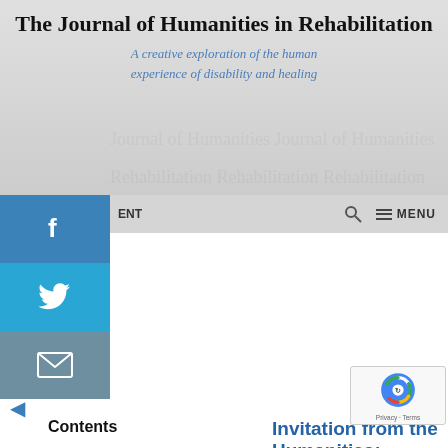The Journal of Humanities in Rehabilitation
A creative exploration of the human experience of disability and healing
[Figure (screenshot): Website navigation bar with social media icons (Facebook, Twitter, Email), search icon, and MENU button]
Contents
About the Author(s)
Share this:
Invitation from the Humanities: Learning from Voices Outside of Sciences